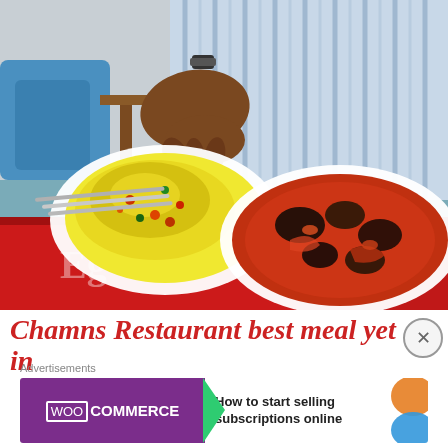[Figure (photo): Photo of two plates of food on a restaurant table: one plate with yellow/saffron rice with vegetables, one plate with a red tomato stew with meat pieces. A person in a blue striped shirt is handling the rice plate.]
Chamns Restaurant best meal yet in
Advertisements
[Figure (other): WooCommerce advertisement banner: purple WooCommerce logo on left with green arrow, white right section with text 'How to start selling subscriptions online', orange and blue decorative shapes on right.]